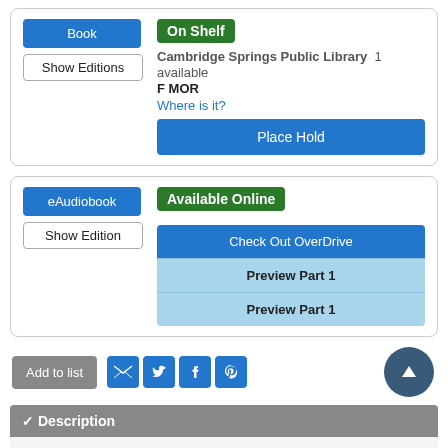Book | On Shelf | Cambridge Springs Public Library 1 available | F MOR | Where is it? | Place Hold
eAudiobook | Available Online | Check Out OverDrive | Preview Part 1 | Preview Part 1
Add to list
Description
"Zachary Ezra Rawlins is a graduate student in Vermont when he